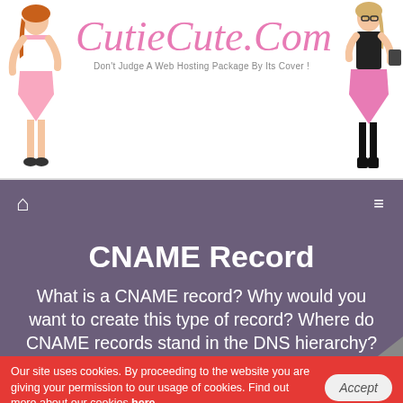[Figure (illustration): Website header banner for CutieCute.Com with decorative script logo, tagline 'Don't Judge A Web Hosting Package By Its Cover!', and two female figures on left and right sides]
CutieCute.Com — Don't Judge A Web Hosting Package By Its Cover!
CNAME Record
What is a CNAME record? Why would you want to create this type of record? Where do CNAME records stand in the DNS hierarchy?
Our site uses cookies. By proceeding to the website you are giving your permission to our usage of cookies. Find out more about our cookies here.